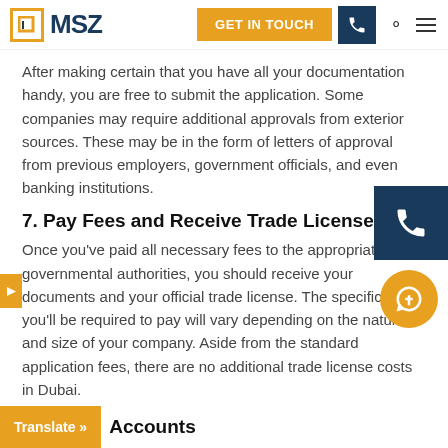MSZ — GET IN TOUCH
After making certain that you have all your documentation handy, you are free to submit the application. Some companies may require additional approvals from exterior sources. These may be in the form of letters of approval from previous employers, government officials, and even banking institutions.
7. Pay Fees and Receive Trade License
Once you've paid all necessary fees to the appropriate governmental authorities, you should receive your documents and your official trade license. The specific fees you'll be required to pay will vary depending on the nature and size of your company. Aside from the standard application fees, there are no additional trade license costs in Dubai.
8. Accounts